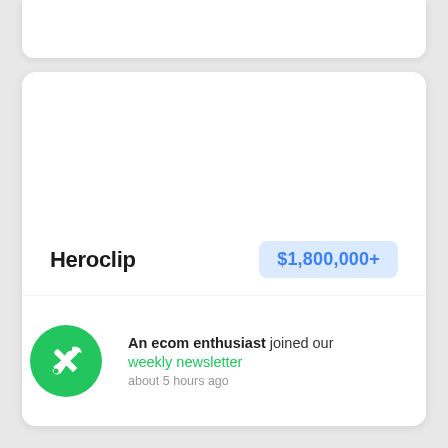Heroclip
$1,800,000+
nthly
An ecom enthusiast joined our weekly newsletter about 5 hours ago